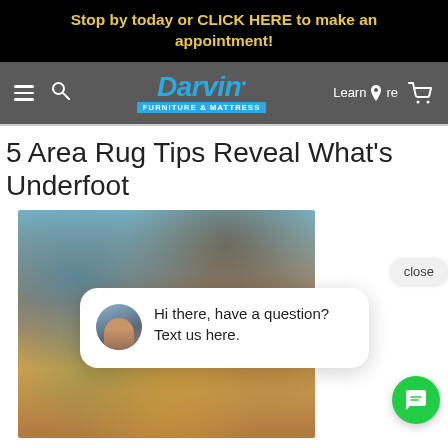Stop by today or CLICK HERE to make an appointment!
[Figure (screenshot): Darvin Furniture & Mattress website navigation bar with hamburger menu, search icon, Darvin logo, Learn More link with location pin, and shopping cart icon]
5 Area Rug Tips Reveal What's Underfoot
[Figure (photo): Photo of a colorful area rug with furniture legs visible, overlaid with a chat widget bubble showing an avatar of a woman and the message 'Hi there, have a question? Text us here.' with a close button and green chat FAB button]